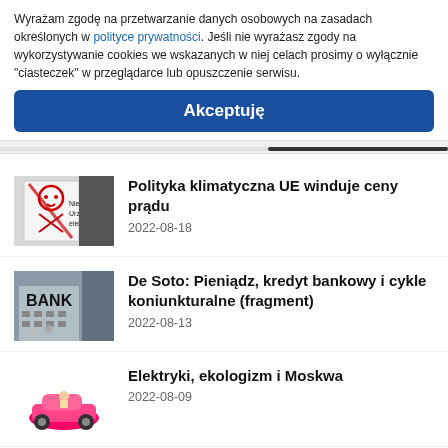Wyrażam zgodę na przetwarzanie danych osobowych na zasadach określonych w polityce prywatności. Jeśli nie wyrażasz zgody na wykorzystywanie cookies we wskazanych w niej celach prosimy o wyłącznie "ciasteczek" w przeglądarce lub opuszczenie serwisu.
Akceptuję
Polityka klimatyczna UE winduje ceny prądu
2022-08-18
De Soto: Pieniądz, kredyt bankowy i cykle koniunkturalne (fragment)
2022-08-13
Elektryki, ekologizm i Moskwa
2022-08-09